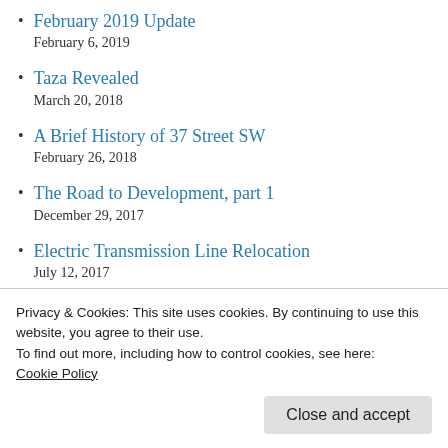February 2019 Update
February 6, 2019
Taza Revealed
March 20, 2018
A Brief History of 37 Street SW
February 26, 2018
The Road to Development, part 1
December 29, 2017
Electric Transmission Line Relocation
July 12, 2017
Tsuut’ina Trail Officially Named
Privacy & Cookies: This site uses cookies. By continuing to use this website, you agree to their use.
To find out more, including how to control cookies, see here:
Cookie Policy
Close and accept